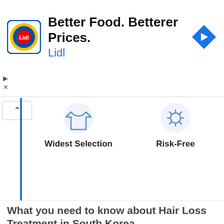[Figure (screenshot): Lidl advertisement banner with logo, tagline 'Better Food. Betterer Prices.', 'Lidl' subtitle, and a blue navigation arrow icon on the right.]
[Figure (infographic): Feature strip showing two icons with labels: 'Widest Selection' (clothing/garment icon) and 'Risk-Free' (settings/gear icon), with a blue vertical bar and collapse chevron button on the left.]
What you need to know about Hair Loss Treatment in South Korea
Hair Loss Treatment is considered a non-invasive cosmetic procedure and doesn't require surgery, however, specialist staff are often required to help undertake such procedures / treatments. This type of Hair Restoration procedure / treatment can be considered reasonably expensive, especially given the skill set, experience, training and equipment used by the specialists involved. For Hair Loss Treatment, photos are required for the specialist to review